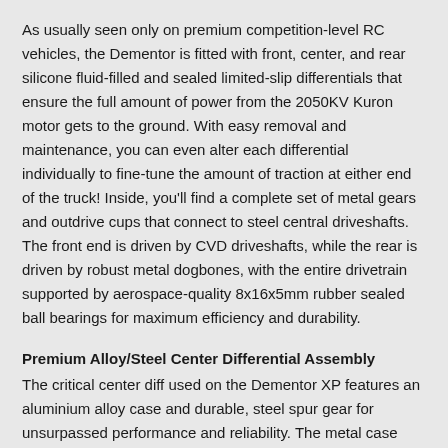As usually seen only on premium competition-level RC vehicles, the Dementor is fitted with front, center, and rear silicone fluid-filled and sealed limited-slip differentials that ensure the full amount of power from the 2050KV Kuron motor gets to the ground. With easy removal and maintenance, you can even alter each differential individually to fine-tune the amount of traction at either end of the truck! Inside, you'll find a complete set of metal gears and outdrive cups that connect to steel central driveshafts. The front end is driven by CVD driveshafts, while the rear is driven by robust metal dogbones, with the entire drivetrain supported by aerospace-quality 8x16x5mm rubber sealed ball bearings for maximum efficiency and durability.
Premium Alloy/Steel Center Differential Assembly
The critical center diff used on the Dementor XP features an aluminium alloy case and durable, steel spur gear for unsurpassed performance and reliability. The metal case allows